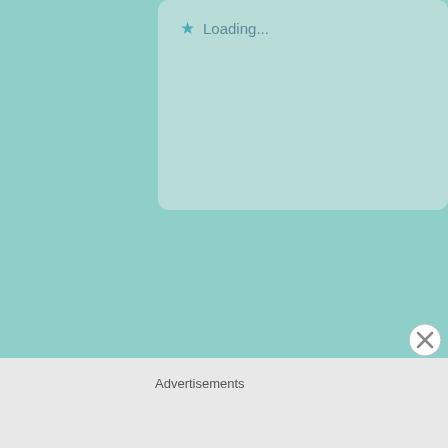Loading...
kaitiscotland
June 26, 2019 at 11:18 am
I had some in Key West. So sweet but tangy.
Loading...
Advertisements